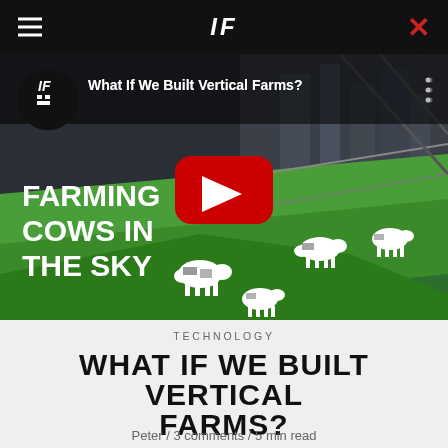IF
[Figure (screenshot): YouTube video thumbnail showing cows grazing on elevated green terraces in a futuristic city setting. Text overlay reads 'FARMING COWS IN THE SKY'. Channel logo 'IF' appears in top left with video title 'What If We Built Vertical Farms?'. Red YouTube play button in center.]
TECHNOLOGY
WHAT IF WE BUILT VERTICAL FARMS?
Peter / 3 comments / 5 min read